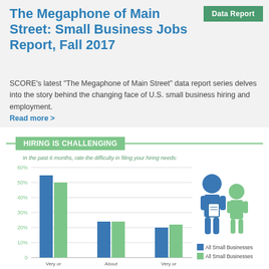Data Report
The Megaphone of Main Street: Small Business Jobs Report, Fall 2017
SCORE's latest “The Megaphone of Main Street” data report series delves into the story behind the changing face of U.S. small business hiring and employment.
Read more >
HIRING IS CHALLENGING
[Figure (grouped-bar-chart): In the past 6 months, rate the difficulty in filling your hiring needs:]